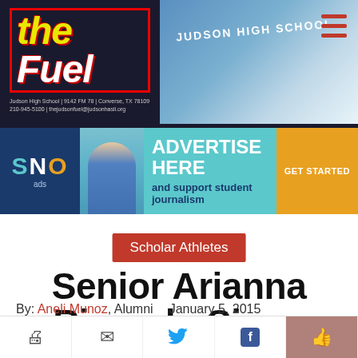[Figure (photo): The Fuel newspaper header banner with logo on dark background and school building photo on right]
[Figure (infographic): SNO Ads advertise here banner with student photo and GET STARTED orange button]
Scholar Athletes
Senior Arianna Ricondo Signs with Alabama
By: Aneli Munoz, Alumni   January 5, 2015